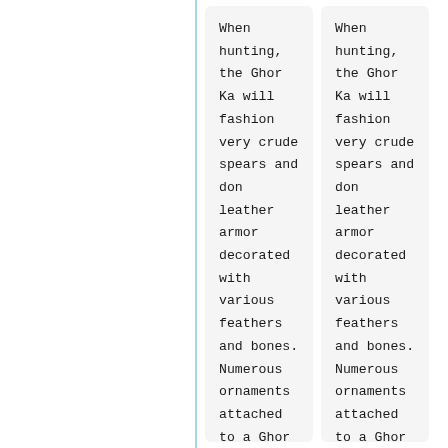When hunting, the Ghor Ka will fashion very crude spears and don leather armor decorated with various feathers and bones. Numerous ornaments attached to a Ghor Ka's armor or clothing signifies a
When hunting, the Ghor Ka will fashion very crude spears and don leather armor decorated with various feathers and bones. Numerous ornaments attached to a Ghor Ka's armor or clothing signifies a